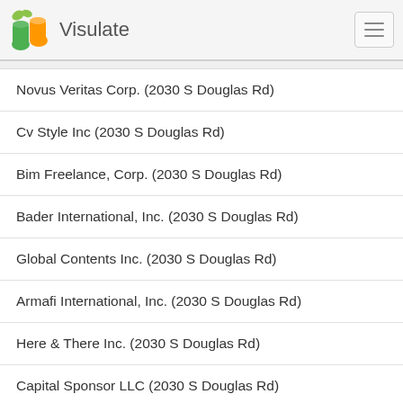Visulate
Novus Veritas Corp. (2030 S Douglas Rd)
Cv Style Inc (2030 S Douglas Rd)
Bim Freelance, Corp. (2030 S Douglas Rd)
Bader International, Inc. (2030 S Douglas Rd)
Global Contents Inc. (2030 S Douglas Rd)
Armafi International, Inc. (2030 S Douglas Rd)
Here & There Inc. (2030 S Douglas Rd)
Capital Sponsor LLC (2030 S Douglas Rd)
Law Offices Of Kenneth B. Schurr, P.A. (2030 S Douglas Rd)
Teleimagen... (2030 S Douglas Rd)